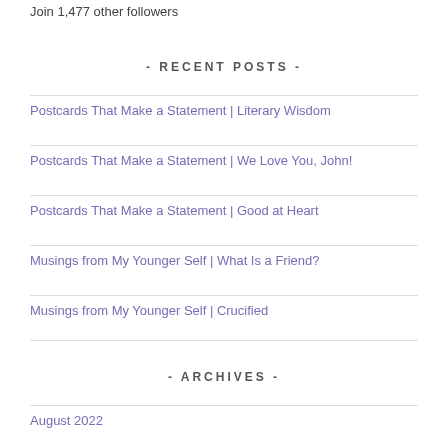Join 1,477 other followers
- RECENT POSTS -
Postcards That Make a Statement | Literary Wisdom
Postcards That Make a Statement | We Love You, John!
Postcards That Make a Statement | Good at Heart
Musings from My Younger Self | What Is a Friend?
Musings from My Younger Self | Crucified
- ARCHIVES -
August 2022